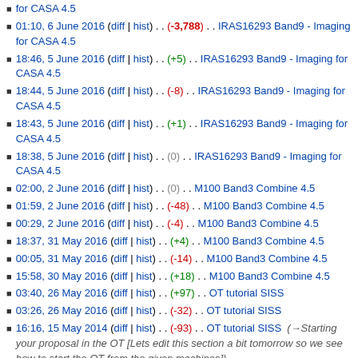for CASA 4.5
01:10, 6 June 2016 (diff | hist) . . (-3,788) . . IRAS16293 Band9 - Imaging for CASA 4.5
18:46, 5 June 2016 (diff | hist) . . (+5) . . IRAS16293 Band9 - Imaging for CASA 4.5
18:44, 5 June 2016 (diff | hist) . . (-8) . . IRAS16293 Band9 - Imaging for CASA 4.5
18:43, 5 June 2016 (diff | hist) . . (+1) . . IRAS16293 Band9 - Imaging for CASA 4.5
18:38, 5 June 2016 (diff | hist) . . (0) . . IRAS16293 Band9 - Imaging for CASA 4.5
02:00, 2 June 2016 (diff | hist) . . (0) . . M100 Band3 Combine 4.5
01:59, 2 June 2016 (diff | hist) . . (-48) . . M100 Band3 Combine 4.5
00:29, 2 June 2016 (diff | hist) . . (-4) . . M100 Band3 Combine 4.5
18:37, 31 May 2016 (diff | hist) . . (+4) . . M100 Band3 Combine 4.5
00:05, 31 May 2016 (diff | hist) . . (-14) . . M100 Band3 Combine 4.5
15:58, 30 May 2016 (diff | hist) . . (+18) . . M100 Band3 Combine 4.5
03:40, 26 May 2016 (diff | hist) . . (+97) . . OT tutorial SISS
03:26, 26 May 2016 (diff | hist) . . (-32) . . OT tutorial SISS
16:16, 15 May 2014 (diff | hist) . . (-93) . . OT tutorial SISS (→Starting your proposal in the OT [Lets edit this section a bit tomorrow so we see how to start the OT from the given machines])
01:31, 15 May 2014 (diff | hist) . . (+6) . . OT tutorial SISS (Undo